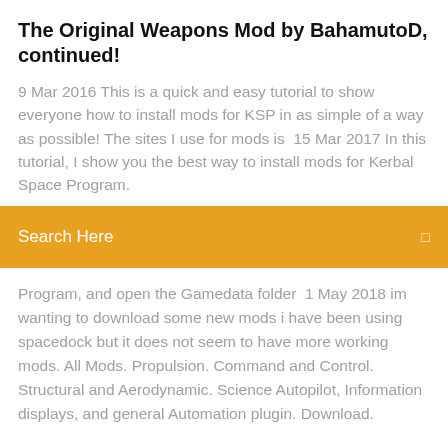The Original Weapons Mod by BahamutoD, continued!
9 Mar 2016 This is a quick and easy tutorial to show everyone how to install mods for KSP in as simple of a way as possible! The sites I use for mods is  15 Mar 2017 In this tutorial, I show you the best way to install mods for Kerbal Space Program.
Search Here
Program, and open the Gamedata folder  1 May 2018 im wanting to download some new mods i have been using spacedock but it does not seem to have more working mods. All Mods. Propulsion. Command and Control. Structural and Aerodynamic. Science Autopilot, Information displays, and general Automation plugin. Download.
Project diva pc hd song packs download
Nvidia display driver free download windows 10
Beat saber mod downloader